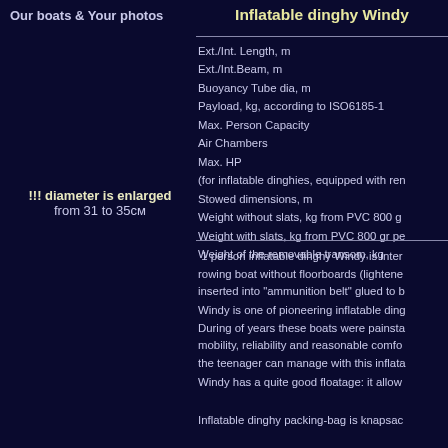Our boats & Your photos
Inflatable dinghy Windy
!!! diameter is enlarged
from 31 to 35см
| Ext./Int. Length, m |
| Ext./Int.Beam, m |
| Buoyancy Tube dia, m |
| Payload, kg, according to ISO6185-1 |
| Max. Person Capacity |
| Air Chambers |
| Max. HP |
| (for inflatable dinghies, equipped with rem... |
| Stowed dimensions, m |
| Weight without slats, kg from PVC 800 g... |
| Weight with slats, kg from PVC 800 gr pe... |
| Weight of the removable transom, kg |
1 person inflatable dinghy Windy is inter... rowing boat without floorboards (lightene... inserted into "ammunition belt" glued to b...
Windy is one of pioneering inflatable ding... During of years these boats were painsta... mobility, reliability and reasonable comfo... the teenager can manage with this inflata...
Windy has a quite good floatage: it allow...
Inflatable dinghy packing-bag is knapsac...